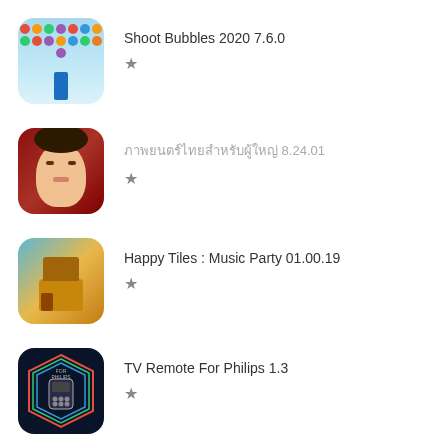[Figure (screenshot): Partial app icon with red background, cropped at top]
Shoot Bubbles 2020 7.6.0
[Figure (screenshot): Shoot Bubbles 2020 app icon showing colorful bubbles on blue background]
ภาพยนตร์ไทยสำหรับผู้ใหญ่ 8.24.01
[Figure (screenshot): Thai drama app icon showing a face with red background]
Happy Tiles : Music Party 01.00.19
[Figure (screenshot): Happy Tiles Music Party app icon showing decorative scene]
TV Remote For Philips 1.3
[Figure (screenshot): TV Remote For Philips app icon with dark blue hexagon and remote control]